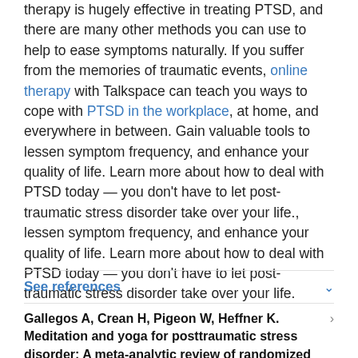therapy is hugely effective in treating PTSD, and there are many other methods you can use to help to ease symptoms naturally. If you suffer from the memories of traumatic events, online therapy with Talkspace can teach you ways to cope with PTSD in the workplace, at home, and everywhere in between. Gain valuable tools to lessen symptom frequency, and enhance your quality of life. Learn more about how to deal with PTSD today — you don't have to let post-traumatic stress disorder take over your life., lessen symptom frequency, and enhance your quality of life. Learn more about how to deal with PTSD today — you don't have to let post-traumatic stress disorder take over your life.
See references
Gallegos A, Crean H, Pigeon W, Heffner K. Meditation and yoga for posttraumatic stress disorder: A meta-analytic review of randomized controlled trials